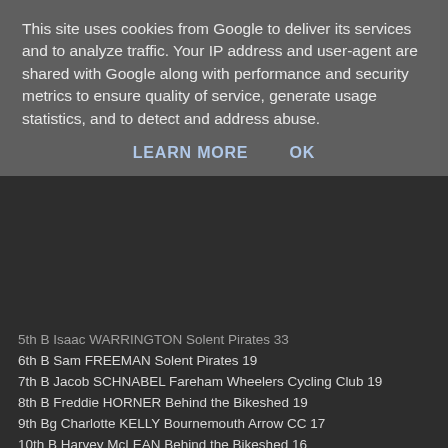This site uses cookies from Google to deliver its services and to analyze traffic. Your IP address and user-agent are shared with Google along with performance and security metrics to ensure quality of service, generate usage statistics, and to detect and address abuse.
LEARN MORE   OK
5th B Isaac WARRINGTON Solent Pirates 33
6th B Sam FREEMAN Solent Pirates 19
7th B Jacob SCHNABEL Fareham Wheelers Cycling Club 19
8th B Freddie HORNER Behind the Bikeshed 19
9th Bg Charlotte KELLY Bournemouth Arrow CC 17
10th B Harvey McLEAN Behind the Bikeshed 16
U16
1st A Samuel CLARK I-Team Cyclists' Club 98
2nd Ag Caitlin PETERS I-Team Cyclists' Club 76
3rd A Oliver AITKEN PSFNIORT 40
4th A Will COOPER Team Montezuma Hargroves Cycles 39
5th A Barney CLACY Eden Vernada Racing 37
6th A Tom MUNDAY I-Team Cyclists' Club 20
7th Ag Mercy WEBB Velo Club Venta 19
8th A David MIDDLETON Cardiff Ajax CC 19